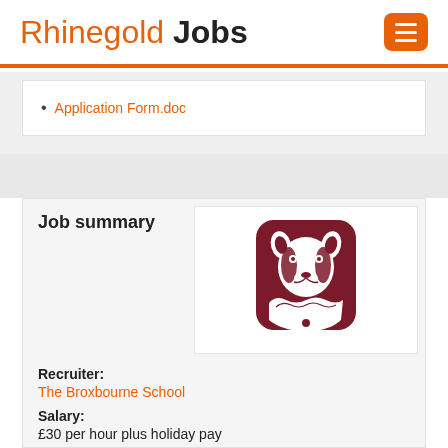Rhinegold Jobs
Application Form.doc
Job summary
[Figure (logo): The Broxbourne School crest/logo — dark red shield shape with a stylised badger face in white]
Recruiter: The Broxbourne School
Salary: £30 per hour plus holiday pay